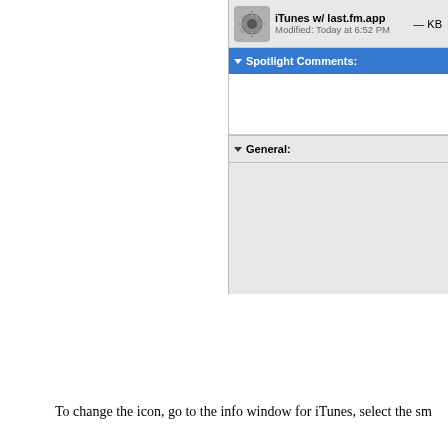[Figure (screenshot): Cropped macOS Info window for 'iTunes w/ last.fm.app' showing the file icon (Automator gear), filename, 'Modified: Today at 6:52 PM', a blue Spotlight Comments section header, an empty Spotlight Comments text area, and a General section header.]
To change the icon, go to the info window for iTunes, select the small icon at the top of the window, and hit Command C to copy the icon. Now go back to the iTunes w/ last.fm.app (or whatever you called it), select the small Automator icon at the top of its info window, and hit Command V to paste the iTunes icon.
After:
[Figure (screenshot): macOS Info window for 'iTunes w/ last.fm.app' showing the iTunes musical note icon, filename, '872 KB', 'Modified: Today at 7:04 PM', and a blue Spotlight Comments section bar.]